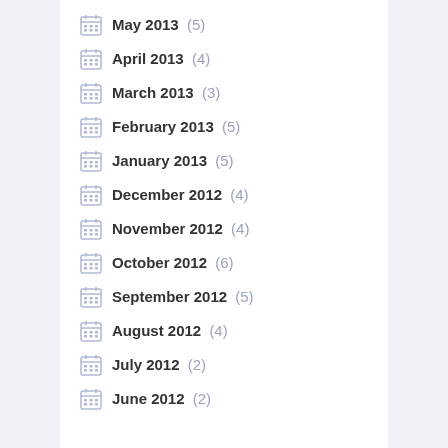May 2013 (5)
April 2013 (4)
March 2013 (3)
February 2013 (5)
January 2013 (5)
December 2012 (4)
November 2012 (4)
October 2012 (6)
September 2012 (5)
August 2012 (4)
July 2012 (2)
June 2012 (2)